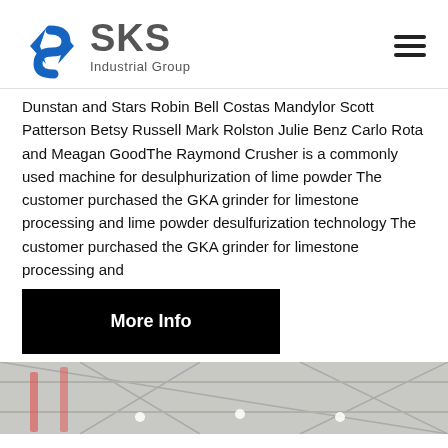[Figure (logo): SKS Industrial Group logo with blue diamond/arrow icon and grey SKS text]
Dunstan and Stars Robin Bell Costas Mandylor Scott Patterson Betsy Russell Mark Rolston Julie Benz Carlo Rota and Meagan GoodThe Raymond Crusher is a commonly used machine for desulphurization of lime powder The customer purchased the GKA grinder for limestone processing and lime powder desulfurization technology The customer purchased the GKA grinder for limestone processing and
More Info
[Figure (photo): Industrial facility interior showing structural steel trusses, scaffolding, and ceiling lights]